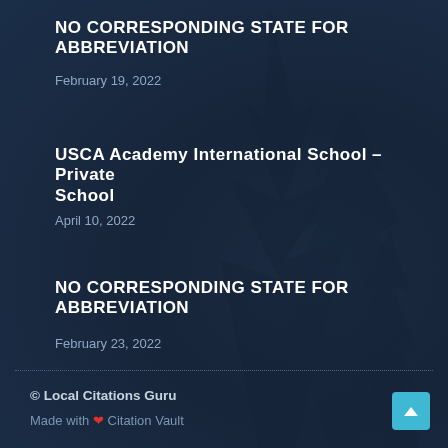NO CORRESPONDING STATE FOR ABBREVIATION
February 19, 2022
USCA Academy International School – Private School
April 10, 2022
NO CORRESPONDING STATE FOR ABBREVIATION
February 23, 2022
© Local Citations Guru
Made with ❤ Citation Vault